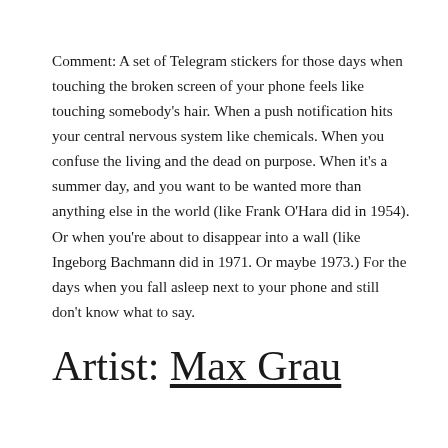Comment: A set of Telegram stickers for those days when touching the broken screen of your phone feels like touching somebody's hair. When a push notification hits your central nervous system like chemicals. When you confuse the living and the dead on purpose. When it's a summer day, and you want to be wanted more than anything else in the world (like Frank O'Hara did in 1954). Or when you're about to disappear into a wall (like Ingeborg Bachmann did in 1971. Or maybe 1973.) For the days when you fall asleep next to your phone and still don't know what to say.
Artist: Max Grau